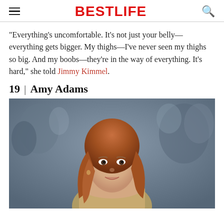BESTLIFE
"Everything's uncomfortable. It's not just your belly—everything gets bigger. My thighs—I've never seen my thighs so big. And my boobs—they're in the way of everything. It's hard," she told Jimmy Kimmel.
19 | Amy Adams
[Figure (photo): Amy Adams, a woman with long auburn/red hair, wearing an off-shoulder outfit, photographed at what appears to be a red carpet event with photographers visible in the blurred background.]